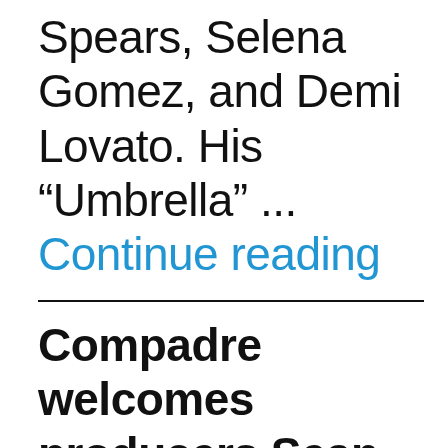Spears, Selena Gomez, and Demi Lovato. His “Umbrella” ... Continue reading
Compadre welcomes producers Sean